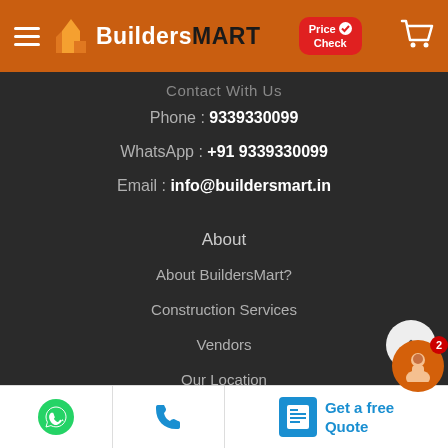BuildersMART — Price Check header with hamburger menu and cart icon
Contact With Us
Phone : 9339330099
WhatsApp : +91 9339330099
Email : info@buildersmart.in
About
About BuildersMart?
Construction Services
Vendors
Our Location
Careers
Blog
Policy
WhatsApp | Phone | Get a free Quote